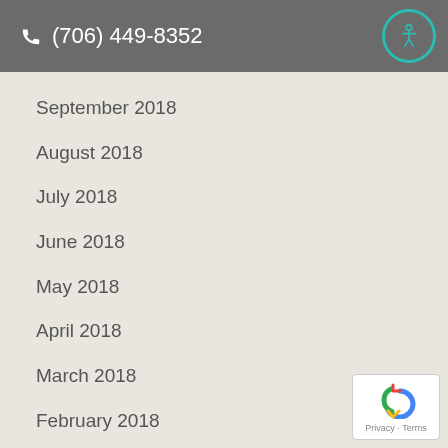(706) 449-8352
September 2018
August 2018
July 2018
June 2018
May 2018
April 2018
March 2018
February 2018
January 2018
December 2017